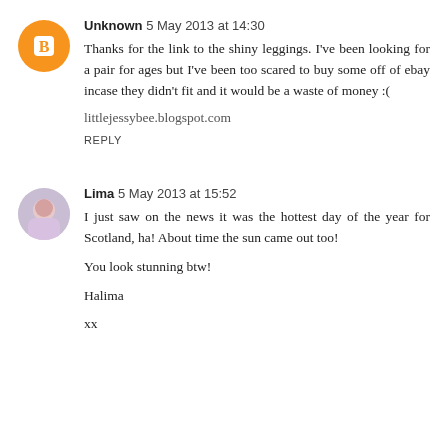Unknown 5 May 2013 at 14:30
Thanks for the link to the shiny leggings. I've been looking for a pair for ages but I've been too scared to buy some off of ebay incase they didn't fit and it would be a waste of money :(
littlejessybee.blogspot.com
REPLY
Lima 5 May 2013 at 15:52
I just saw on the news it was the hottest day of the year for Scotland, ha! About time the sun came out too!
You look stunning btw!
Halima
xx